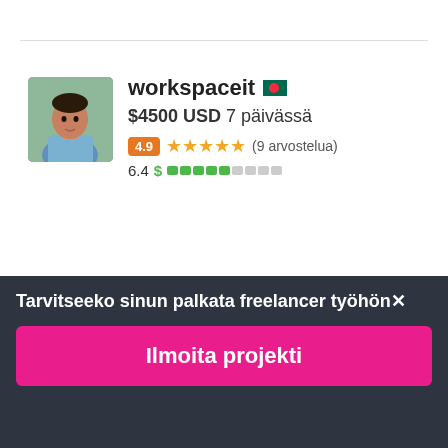[Figure (screenshot): User profile card for 'workspaceit' with Bangladesh flag, showing $4500 USD bid in 7 days, 4.9 rating with 5 stars and 9 reviews, and a 6.4 score with green progress bar]
workspaceit 🇧🇩
$4500 USD 7 päivässä
4.9 ★★★★★ (9 arvostelua)
6.4 $ ▓▓▓▓▓░░░░░
[Figure (screenshot): User profile card for 'deepbansal1111' with India flag, partially visible]
deepbansal1111 🇮🇳
Tarvitseeko sinun palkata freelancer työhön✕
Ilmoita projekti